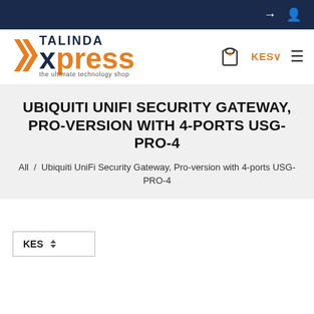Talinda Xpress - the ultimate technology shop
UBIQUITI UNIFI SECURITY GATEWAY, PRO-VERSION WITH 4-PORTS USG-PRO-4
All / Ubiquiti UniFi Security Gateway, Pro-version with 4-ports USG-PRO-4
KES